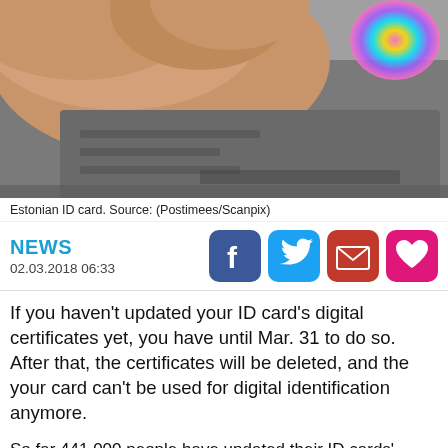[Figure (photo): Close-up photo of a hand holding an Estonian ID card, showing a colorful holographic element in the top right corner.]
Estonian ID card. Source: (Postimees/Scanpix)
NEWS
02.03.2018 06:33
If you haven't updated your ID card's digital certificates yet, you have until Mar. 31 to do so. After that, the certificates will be deleted, and the your card can't be used for digital identification anymore.
So far 441,000 people have updated their ID cards' digital certificates, 322,000 of them remotely, the